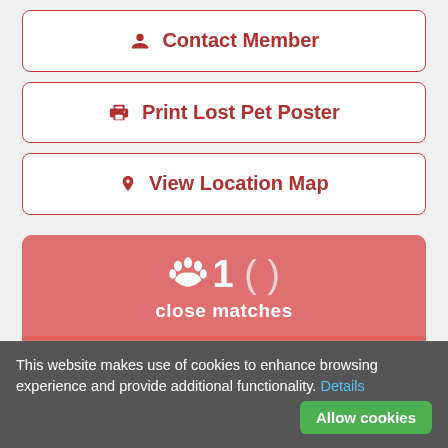Contact Member
Print Lost Pet Poster
View Location Map
1
close matches
9
general matches
This website makes use of cookies to enhance browsing experience and provide additional functionality. Details Allow cookies